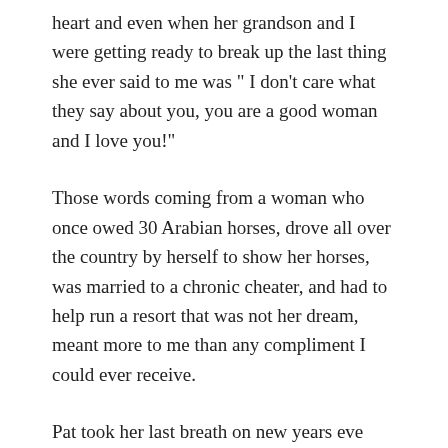heart and even when her grandson and I were getting ready to break up the last thing she ever said to me was " I don't care what they say about you, you are a good woman and I love you!"
Those words coming from a woman who once owed 30 Arabian horses, drove all over the country by herself to show her horses, was married to a chronic cheater, and had to help run a resort that was not her dream, meant more to me than any compliment I could ever receive.
Pat took her last breath on new years eve 2008. The funeral was an epic event with people lined up outside to offer condolences well into the night. I gave the eulogy, and while the words I spoke are a distant memory I will never forget how my simple reminders of